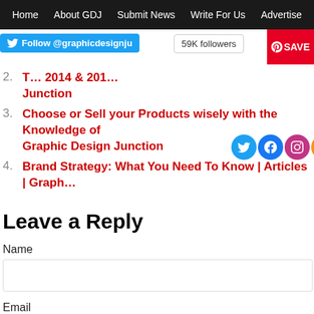Home | About GDJ | Submit News | Write For Us | Advertise
2. Top … 2014 & 201… | Graphic Design Junction
3. Choose or Sell your Products wisely with the Knowledge of Graphic Design Junction
4. Brand Strategy: What You Need To Know | Articles | Graphic…
Leave a Reply
Name
Email